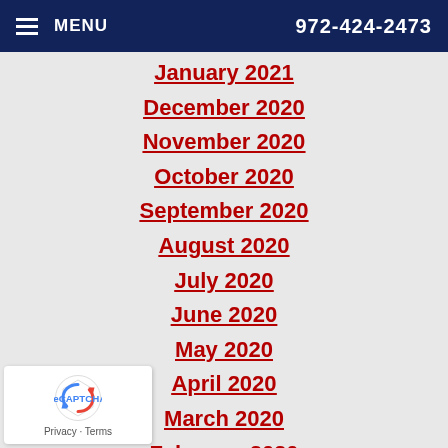MENU  972-424-2473
January 2021
December 2020
November 2020
October 2020
September 2020
August 2020
July 2020
June 2020
May 2020
April 2020
March 2020
February 2020